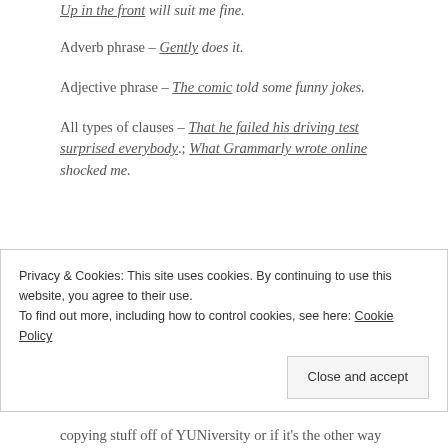Prepositional phrase – Up in the front will suit me fine.
Adverb phrase – Gently does it.
Adjective phrase – The comic told some funny jokes.
All types of clauses – That he failed his driving test surprised everybody.; What Grammarly wrote online shocked me.
Privacy & Cookies: This site uses cookies. By continuing to use this website, you agree to their use.
To find out more, including how to control cookies, see here: Cookie Policy
copying stuff off of YUNiversity or if it's the other way